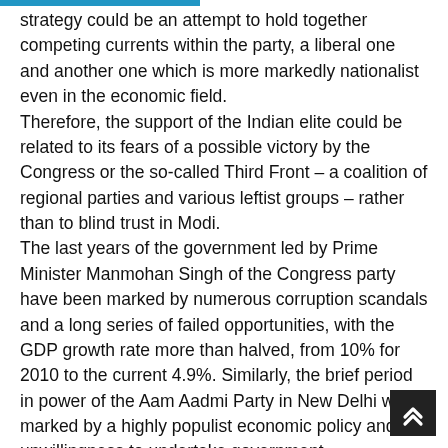strategy could be an attempt to hold together competing currents within the party, a liberal one and another one which is more markedly nationalist even in the economic field. Therefore, the support of the Indian elite could be related to its fears of a possible victory by the Congress or the so-called Third Front – a coalition of regional parties and various leftist groups – rather than to blind trust in Modi. The last years of the government led by Prime Minister Manmohan Singh of the Congress party have been marked by numerous corruption scandals and a long series of failed opportunities, with the GDP growth rate more than halved, from 10% for 2010 to the current 4.9%. Similarly, the brief period in power of the Aam Aadmi Party in New Delhi was marked by a highly populist economic policy and an unwillingness to undertake government responsibilities. Finally, the heterogeneity of the